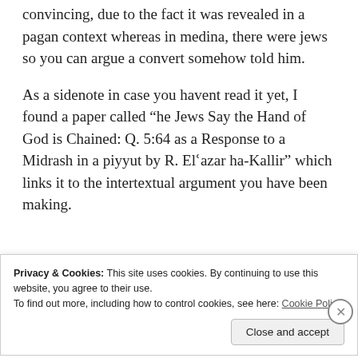convincing, due to the fact it was revealed in a pagan context whereas in medina, there were jews so you can argue a convert somehow told him.
As a sidenote in case you havent read it yet, I found a paper called “he Jews Say the Hand of God is Chained: Q. 5:64 as a Response to a Midrash in a piyyut by R. Elʿazar ha-Kallir” which links it to the intertextual argument you have been making.
Privacy & Cookies: This site uses cookies. By continuing to use this website, you agree to their use.
To find out more, including how to control cookies, see here: Cookie Policy
Close and accept
Advertisements